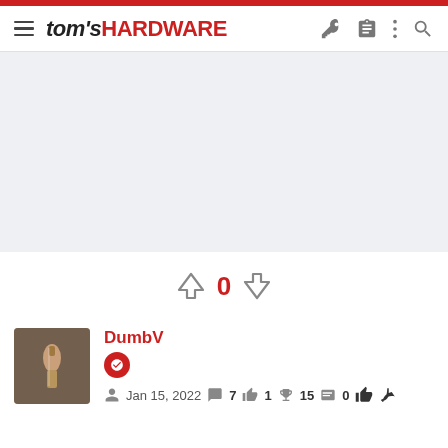tom's HARDWARE
[Figure (other): Gray advertisement placeholder area]
0 (vote count with up and down arrows)
DumbV — Jan 15, 2022 — 7 messages — 1 like — 15 trophies — 0 solutions